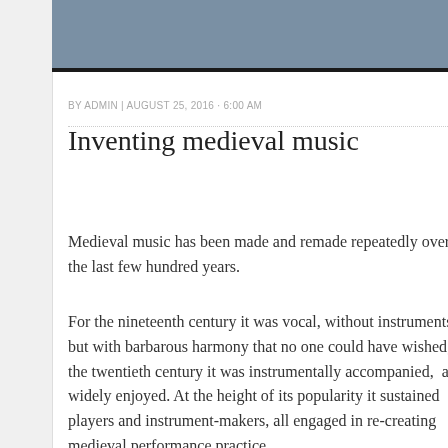[Figure (photo): Gray-blue header image banner at top of article page]
BY ADMIN | AUGUST 25, 2016 · 6:00 AM
Inventing medieval music
Medieval music has been made and remade repeatedly over the last few hundred years.
For the nineteenth century it was vocal, without instruments, but with barbarous harmony that no one could have wished; for the twentieth century it was instrumentally accompanied, and widely enjoyed. At the height of its popularity it sustained players and instrument-makers, all engaged in re-creating medieval performance practice.